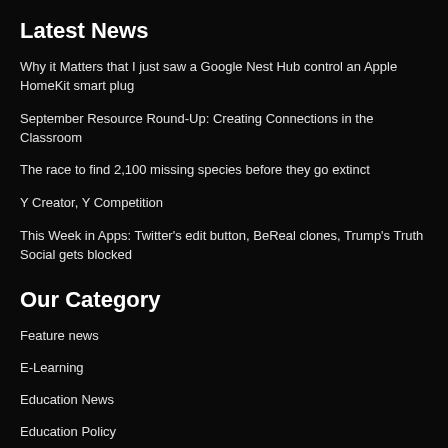Latest News
Why it Matters that I just saw a Google Nest Hub control an Apple HomeKit smart plug
September Resource Round-Up: Creating Connections in the Classroom
The race to find 2,100 missing species before they go extinct
Y Creator, Y Competition
This Week in Apps: Twitter's edit button, BeReal clones, Trump's Truth Social gets blocked
Our Category
Feature news
E-Learning
Education News
Education Policy
Internet Culture